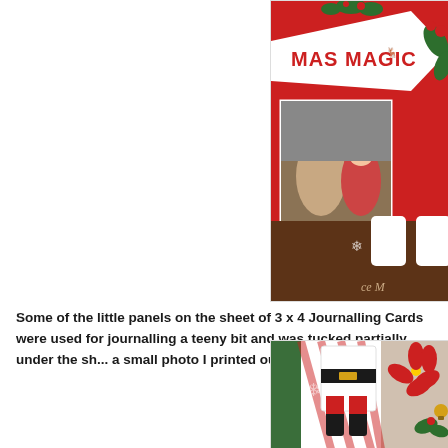[Figure (photo): Close-up photo of a Christmas scrapbook layout showing decorative elements including text reading 'XMAS MAGIC', Christmas-themed patterned papers in red and green, a small photo of people, and holiday embellishments including snowflakes and berries. The image is cropped on the left side.]
Some of the little panels on the sheet of 3 x 4 Journalling Cards were used for journalling a teeny bit and was tucked partially under the sh... a small photo I printed out and popped on it.
[Figure (photo): Close-up photo of a Christmas scrapbook layout showing a Santa Claus belt and boots die-cut embellishment, candy cane striped papers, poinsettia flowers in red, and other Christmas decorative elements. The image is partially cropped.]